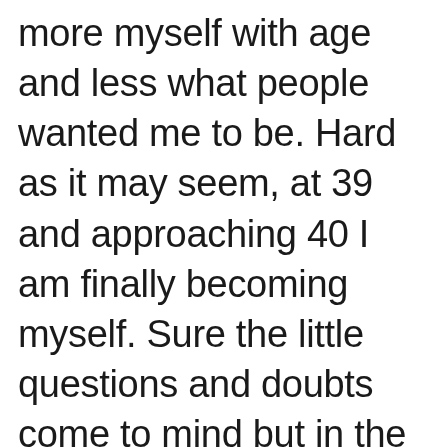more myself with age and less what people wanted me to be. Hard as it may seem, at 39 and approaching 40 I am finally becoming myself. Sure the little questions and doubts come to mind but in the end It's absolutely amazing being my age, and I regret nothing that has